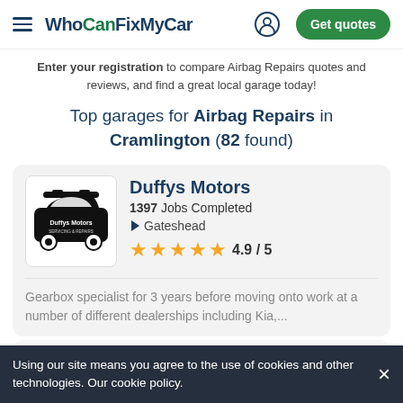WhoCanFixMyCar — Get quotes
Enter your registration to compare Airbag Repairs quotes and reviews, and find a great local garage today!
Top garages for Airbag Repairs in Cramlington (82 found)
Duffys Motors — 1397 Jobs Completed — Gateshead — 4.9 / 5
Gearbox specialist for 3 years before moving onto work at a number of different dealerships including Kia,...
Using our site means you agree to the use of cookies and other technologies. Our cookie policy.